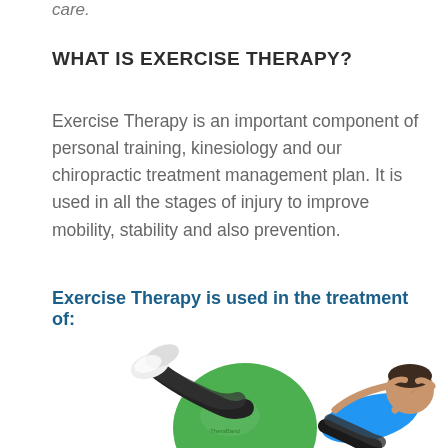care.
WHAT IS EXERCISE THERAPY?
Exercise Therapy is an important component of personal training, kinesiology and our chiropractic treatment management plan. It is used in all the stages of injury to improve mobility, stability and also prevention.
Exercise Therapy is used in the treatment of:
[Figure (photo): Two people doing exercise therapy: one lying with legs on a green TheraBand exercise ball, another doing crunches with hands behind head, wearing a blue top.]